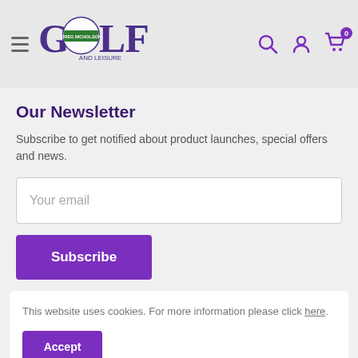Greg Nicholson Golf and Leisure - Navigation header with logo, search, account, and cart icons
Our Newsletter
Subscribe to get notified about product launches, special offers and news.
Your email
Subscribe
This website uses cookies. For more information please click here.
Accept